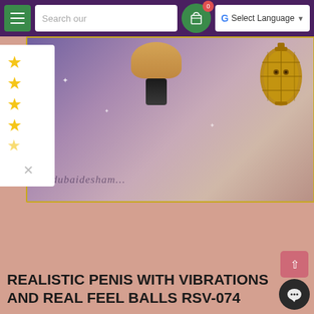Search our | Select Language
[Figure (photo): E-commerce website screenshot showing a product page with a purple/mauve banner with a lantern and product image, salmon/pink background, star rating sidebar, and product title at bottom]
REALISTIC PENIS WITH VIBRATIONS AND REAL FEEL BALLS RSV-074